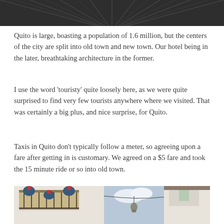[Figure (photo): Top portion of an architectural/overhead photo showing dark ceiling or roof with radiating line patterns, partially cropped]
Quito is large, boasting a population of 1.6 million, but the centers of the city are split into old town and new town. Our hotel being in the later, breathtaking architecture in the former.
I use the word 'touristy' quite loosely here, as we were quite surprised to find very few tourists anywhere where we visited. That was certainly a big plus, and nice surprise, for Quito.
Taxis in Quito don't typically follow a meter, so agreeing upon a fare after getting in is customary. We agreed on a $5 fare and took the 15 minute ride or so into old town.
[Figure (photo): Street scene in Quito old town showing colonial architecture with balconies decorated with blue hanging planters and red flowers on the left, and a narrow street with a hanging lantern under a partly cloudy sky in the center, and white building facade on the right]